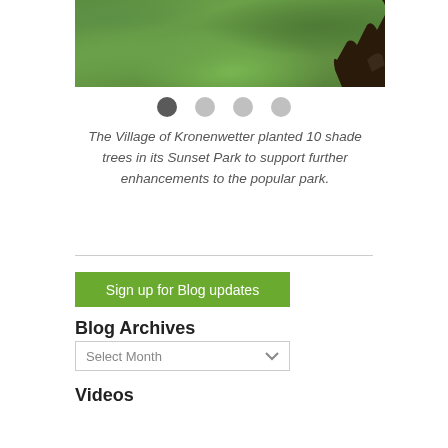[Figure (photo): Partial view of a grassy lawn with a dark bird or equipment silhouette visible in the upper right corner — part of a slideshow about Kronenwetter's Sunset Park tree planting.]
The Village of Kronenwetter planted 10 shade trees in its Sunset Park to support further enhancements to the popular park.
Sign up for Blog updates
Blog Archives
Select Month
Videos